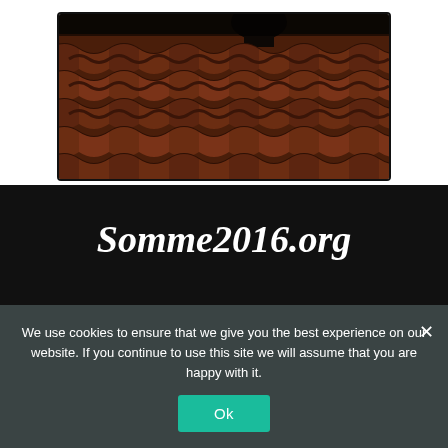[Figure (photo): Photo of terracotta/clay roof tiles in dark reddish-brown tones, partially cropped, with a figure barely visible at the top. Image is inside a rounded black border/frame.]
Somme2016.org
We use cookies to ensure that we give you the best experience on our website. If you continue to use this site we will assume that you are happy with it.